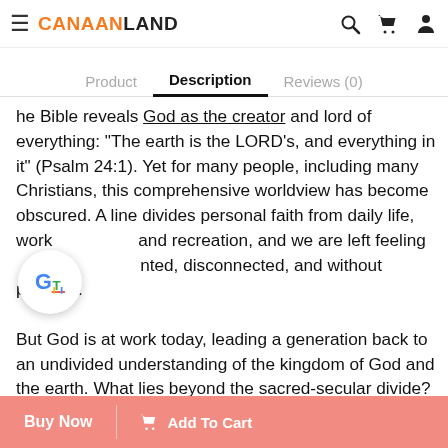CANAANLAND [logo] | search | cart | account icons
Product   Description   Reviews (0)
he Bible reveals God as the creator and lord of everything: "The earth is the LORD's, and everything in it" (Psalm 24:1). Yet for many people, including many Christians, this comprehensive worldview has become obscured. A line divides personal faith from daily life, work, and recreation, and we are left feeling [disconnected], and without purpose.

But God is at work today, leading a generation back to an undivided understanding of the kingdom of God and the earth. What lies beyond the sacred-secular divide? A fulfilling, integrated life that unites faith and action, the spiritual and the physical, Sundays and the rest of t[he week]. God cares about everything and we have the incredible opportunity to join him in his all-
Buy Now | [cart icon] Add To Cart